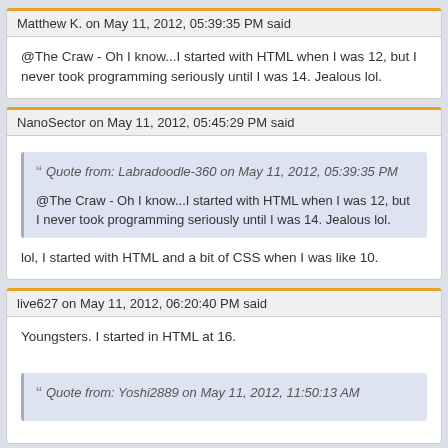Matthew K. on May 11, 2012, 05:39:35 PM said
@The Craw - Oh I know...I started with HTML when I was 12, but I never took programming seriously until I was 14. Jealous lol.
NanoSector on May 11, 2012, 05:45:29 PM said
Quote from: Labradoodle-360 on May 11, 2012, 05:39:35 PM
@The Craw - Oh I know...I started with HTML when I was 12, but I never took programming seriously until I was 14. Jealous lol.
lol, I started with HTML and a bit of CSS when I was like 10.
live627 on May 11, 2012, 06:20:40 PM said
Youngsters. I started in HTML at 16.
Quote from: Yoshi2889 on May 11, 2012, 11:50:13 AM